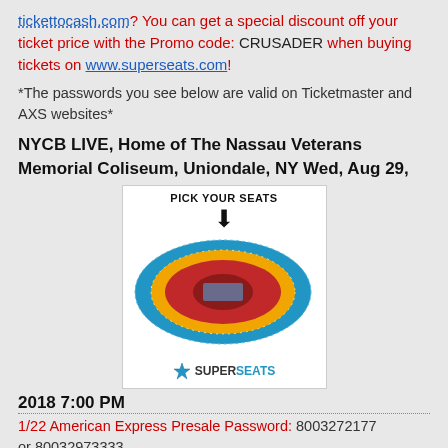tickettocash.com? You can get a special discount off your ticket price with the Promo code: CRUSADER when buying tickets on www.superseats.com!
*The passwords you see below are valid on Ticketmaster and AXS websites*
NYCB LIVE, Home of The Nassau Veterans Memorial Coliseum, Uniondale, NY Wed, Aug 29,
[Figure (illustration): Arena seating chart diagram with PICK YOUR SEATS label and down arrow above the oval stadium diagram, with SUPERSEATS logo below]
2018 7:00 PM
1/22 American Express Presale Password: 8003272177 or 80032973333